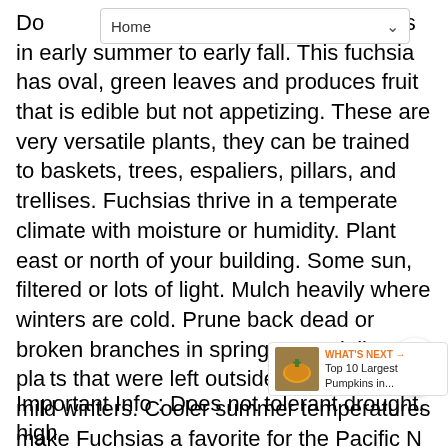[Figure (screenshot): Browser navigation bar showing 'Home' with a dropdown chevron]
Do...ms in early summer to early fall. This fuchsia has oval, green leaves and produces fruit that is edible but not appetizing. These are very versatile plants, they can be trained to baskets, trees, espaliers, pillars, and trellises. Fuchsias thrive in a temperate climate with moisture or humidity. Plant east or north of your building. Some sun, filtered or lots of light. Mulch heavily where winters are cold. Prune back dead or broken branches in spring, especially on plants that were left outside in areas with mild winters. Cooler summer temperatures make Fuchsias a favorite for the Pacific N...
[Figure (infographic): Share widget showing a share icon with count 0]
[Figure (screenshot): WHAT'S NEXT panel showing Top 10 Largest Pumpkins in...]
Important Info : Does not tolerant drought, high